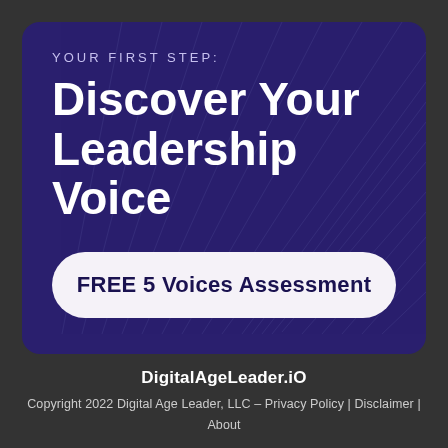YOUR FIRST STEP:
Discover Your Leadership Voice
FREE 5 Voices Assessment
DigitalAgeLeader.iO
Copyright 2022 Digital Age Leader, LLC – Privacy Policy | Disclaimer | About